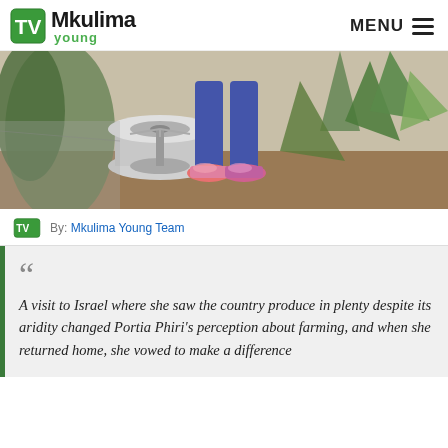Mkulima young | MENU
[Figure (photo): A person standing near a large metal wire spool/reel outdoors among agave-like plants. The person is wearing blue trousers and colorful sneakers. The scene shows a farm or agricultural setting.]
By: Mkulima Young Team
A visit to Israel where she saw the country produce in plenty despite its aridity changed Portia Phiri's perception about farming, and when she returned home, she vowed to make a difference